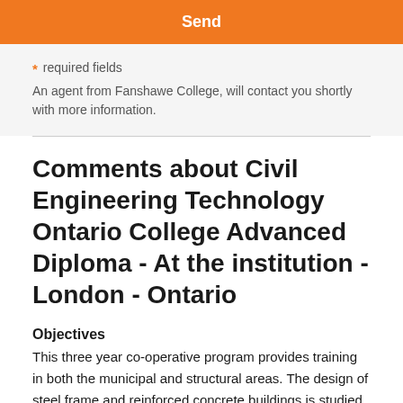[Figure (other): Orange Send button]
* required fields
An agent from Fanshawe College, will contact you shortly with more information.
Comments about Civil Engineering Technology Ontario College Advanced Diploma - At the institution - London - Ontario
Objectives
This three year co-operative program provides training in both the municipal and structural areas. The design of steel frame and reinforced concrete buildings is studied in the structural courses. Training is provided in materials testing and computer-aided drafting. Municipal topics include the design and construction of water distribution systems, storm, and sanitary sewerage networks, storm water management